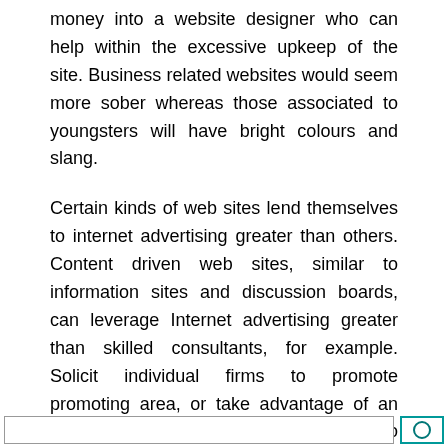money into a website designer who can help within the excessive upkeep of the site. Business related websites would seem more sober whereas those associated to youngsters will have bright colours and slang.
Certain kinds of web sites lend themselves to internet advertising greater than others. Content driven web sites, similar to information sites and discussion boards, can leverage Internet advertising greater than skilled consultants, for example. Solicit individual firms to promote promoting area, or take advantage of an internet ad placement service, similar to Google’s AdWords.